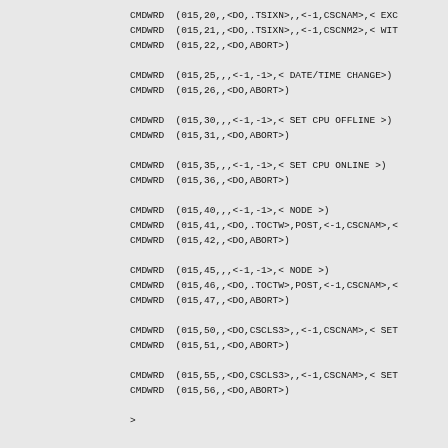CMDWRD  (015,20,,<DO,.TSIXN>,,<-1,CSCNAM>,< EXC
CMDWRD  (015,21,,<DO,.TSIXN>,,<-1,CSCNM2>,< WIT
CMDWRD  (015,22,,<DO,ABORT>)

CMDWRD  (015,25,,,<-1,-1>,< DATE/TIME CHANGE>)
CMDWRD  (015,26,,<DO,ABORT>)

CMDWRD  (015,30,,,<-1,-1>,< SET CPU OFFLINE >)
CMDWRD  (015,31,,<DO,ABORT>)

CMDWRD  (015,35,,,<-1,-1>,< SET CPU ONLINE >)
CMDWRD  (015,36,,<DO,ABORT>)

CMDWRD  (015,40,,,<-1,-1>,< NODE >)
CMDWRD  (015,41,,<DO,.TOCTW>,POST,<-1,CSCNAM>,<
CMDWRD  (015,42,,<DO,ABORT>)

CMDWRD  (015,45,,,<-1,-1>,< NODE >)
CMDWRD  (015,46,,<DO,.TOCTW>,POST,<-1,CSCNAM>,<
CMDWRD  (015,47,,<DO,ABORT>)

CMDWRD  (015,50,,<DO,CSCLS3>,,<-1,CSCNAM>,< SET
CMDWRD  (015,51,,<DO,ABORT>)

CMDWRD  (015,55,,<DO,CSCLS3>,,<-1,CSCNAM>,< SET
CMDWRD  (015,56,,<DO,ABORT>)

>